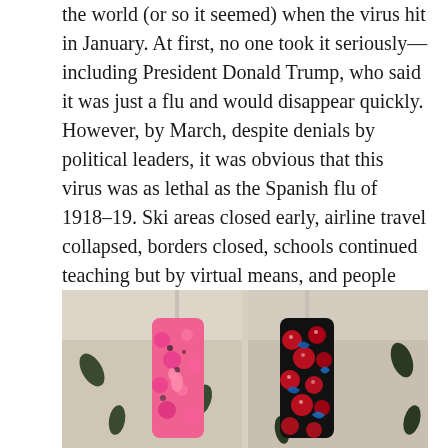the world (or so it seemed) when the virus hit in January. At first, no one took it seriously—including President Donald Trump, who said it was just a flu and would disappear quickly. However, by March, despite denials by political leaders, it was obvious that this virus was as lethal as the Spanish flu of 1918–19. Ski areas closed early, airline travel collapsed, borders closed, schools continued teaching but by virtual means, and people were encouraged to wear masks, socially distance, and avoid crowds.
[Figure (photo): Two decorative fabric face masks hanging on hooks or hangers against a light floral background. The left mask is pink with floral and flamingo patterns; the right mask is black with red roses and blue swirls.]